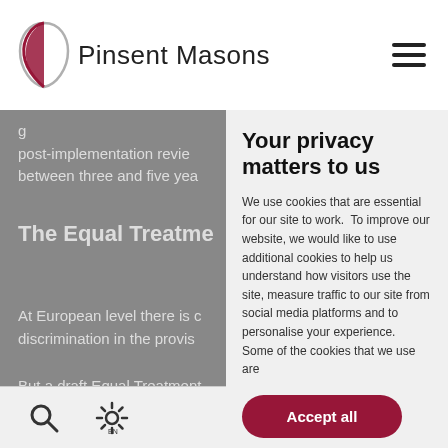[Figure (logo): Pinsent Masons logo with stylized red teardrop/leaf shape and text 'Pinsent Masons']
post-implementation review between three and five year
The Equal Treatme
At European level there is c discrimination in the provis
But a draft Equal Treatment outside the workplace from disability, sexual orientation gender, which will continue
Your privacy matters to us
We use cookies that are essential for our site to work.  To improve our website, we would like to use additional cookies to help us understand how visitors use the site, measure traffic to our site from social media platforms and to personalise your experience.  Some of the cookies that we use are
Accept all
Cookie settings